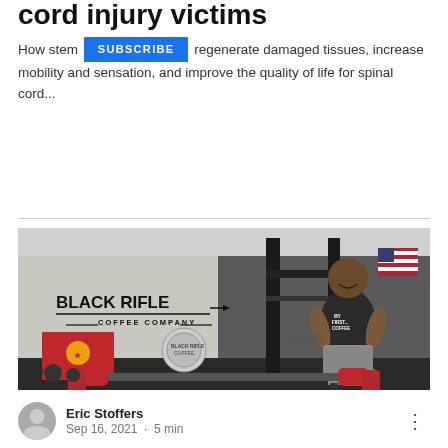cord injury victims
How stem [SUBSCRIBE] regenerate damaged tissues, increase mobility and sensation, and improve the quality of life for spinal cord...
[Figure (photo): A muscular man with a prosthetic leg posing in a gym in front of a Black Rifle Coffee Company banner, with an American flag and gym equipment visible in the background.]
Eric Stoffers
Sep 16, 2021 · 5 min